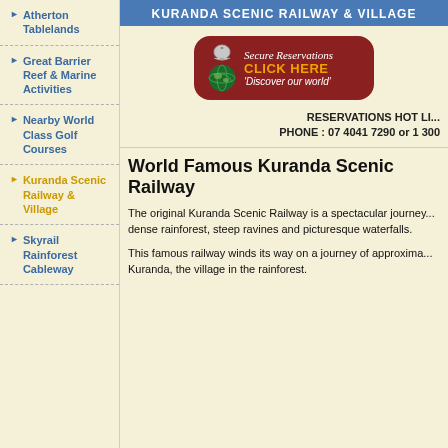KURANDA SCENIC RAILWAY & VILLAGE
Atherton Tablelands
Great Barrier Reef & Marine Activities
Nearby World Class Golf Courses
Kuranda Scenic Railway & Village
Skyrail Rainforest Cableway
[Figure (illustration): Secure Reservations button with bell and globe icon. Text reads: Secure Reservations, CLICK HERE, 'Discover our world']
RESERVATIONS HOT LI... PHONE : 07 4041 7290  or  1 300
World Famous Kuranda Scenic Railway
The original Kuranda Scenic Railway is a spectacular journey... dense rainforest, steep ravines and picturesque waterfalls.
This famous railway winds its way on a journey of approxima... Kuranda, the village in the rainforest.